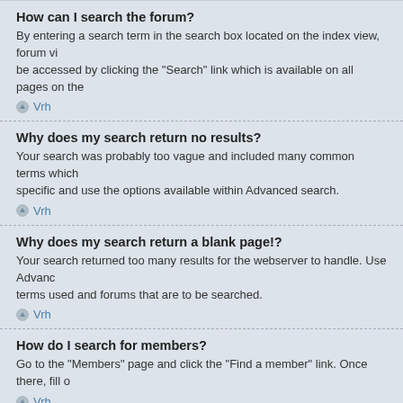How can I search the forum?
By entering a search term in the search box located on the index view, forum vi... be accessed by clicking the "Search" link which is available on all pages on the
Vrh
Why does my search return no results?
Your search was probably too vague and included many common terms which specific and use the options available within Advanced search.
Vrh
Why does my search return a blank page!?
Your search returned too many results for the webserver to handle. Use Advanc... terms used and forums that are to be searched.
Vrh
How do I search for members?
Go to the "Members" page and click the “Find a member” link. Once there, fill o
Vrh
How can I find my own posts and topics?
Your own posts can be retrieved either by clicking the "Search user's posts" wit... own profile page. To search for your topics, use the Advanced search page and
Vrh